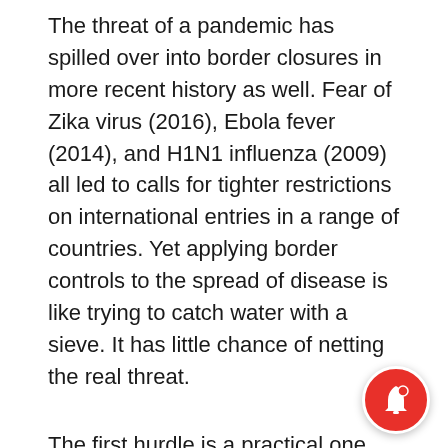The threat of a pandemic has spilled over into border closures in more recent history as well. Fear of Zika virus (2016), Ebola fever (2014), and H1N1 influenza (2009) all led to calls for tighter restrictions on international entries in a range of countries. Yet applying border controls to the spread of disease is like trying to catch water with a sieve. It has little chance of netting the real threat.
The first hurdle is a practical one. Effective screening is nearly impossible to execute on a large scale considering the sheer volume of traffic at airports and ports of entry and the fact that disease detection tools (such as forehead thermometers) are of limited effectiveness (they